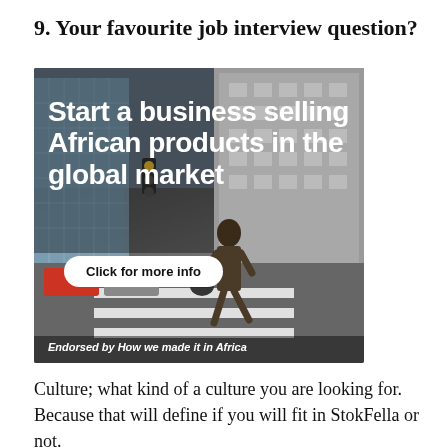9. Your favourite job interview question?
[Figure (photo): Advertisement showing a businessman crossing a zebra crossing in an urban street environment with text 'Start a business selling African products in the global market', a 'Click for more info' button, and 'Endorsed by How we made it in Africa' footer text.]
Culture; what kind of a culture you are looking for. Because that will define if you will fit in StokFella or not.